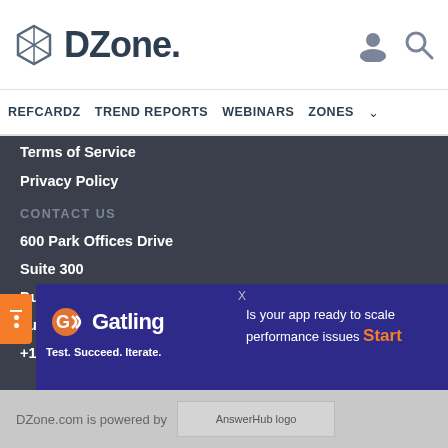[Figure (logo): DZone logo with hexagon icon and wordmark]
REFCARDZ  TREND REPORTS  WEBINARS  ZONES
Terms of Service
Privacy Policy
CONTACT US
600 Park Offices Drive
Suite 300
Durham, NC 27709
support@dzone.com
+1 (919) 678-0300
[Figure (advertisement): Gatling ad banner: Test. Succeed. Iterate. Is your app ready to scale performance issues Start]
DZone.com is powered by AnswerHub logo